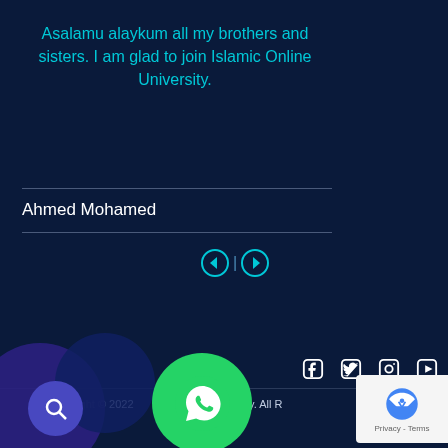Asalamu alaykum all my brothers and sisters. I am glad to join Islamic Online University.
Ahmed Mohamed
[Figure (infographic): Navigation arrows (left and right circle arrow icons) with a vertical separator between them]
[Figure (infographic): Social media icons: Facebook, Twitter, Instagram, YouTube]
Copyright © 2022 Islamic Open University. All Rights Reserved.
[Figure (infographic): Search button (magnifying glass icon in blue circle), WhatsApp floating button (green circle with WhatsApp logo), reCAPTCHA badge]